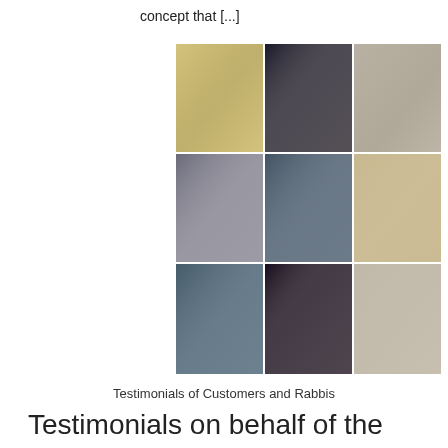concept that [...]
[Figure (photo): 3x3 grid of nine photographs showing customers and rabbis with Torah scrolls, studying, and posing together in various settings.]
Testimonials of Customers and Rabbis
Testimonials on behalf of the Sofer Rabbi Gindi